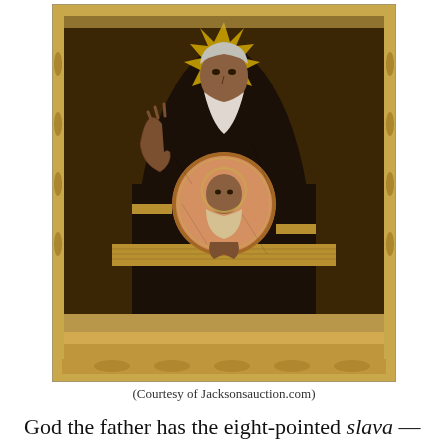[Figure (photo): A Russian Orthodox icon depicting God the Father seated frontally in a dark robe, with the Christ child shown in a circular medallion (mandorla) at the chest. The icon has an ornate gold and gilt riza (metal cover) with decorative borders including scrollwork and floral patterns. The figure has a white beard and radiating halo, and raises one hand in blessing. The icon shows signs of age with craquelure visible on the painted surface.]
(Courtesy of Jacksonsauction.com)
God the father has the eight-pointed slava — “glory” — in his halo that signifies the